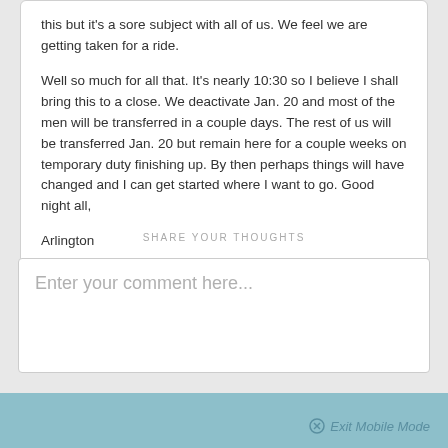this but it's a sore subject with all of us. We feel we are getting taken for a ride.
Well so much for all that. It's nearly 10:30 so I believe I shall bring this to a close. We deactivate Jan. 20 and most of the men will be transferred in a couple days. The rest of us will be transferred Jan. 20 but remain here for a couple weeks on temporary duty finishing up. By then perhaps things will have changed and I can get started where I want to go. Good night all,
Arlington
SHARE YOUR THOUGHTS
Enter your comment here...
Exit Mobile Mode